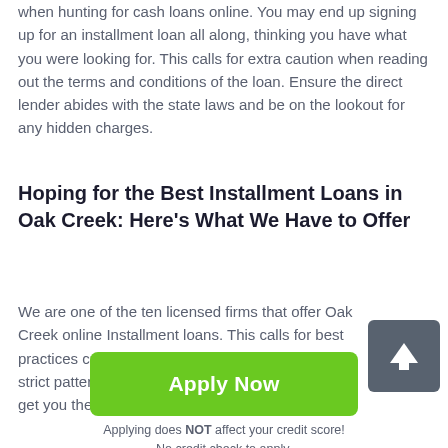when hunting for cash loans online. You may end up signing up for an installment loan all along, thinking you have what you were looking for. This calls for extra caution when reading out the terms and conditions of the loan. Ensure the direct lender abides with the state laws and be on the lookout for any hidden charges.
Hoping for the Best Installment Loans in Oak Creek: Here’s What We Have to Offer
We are one of the ten licensed firms that offer Oak Creek online Installment loans. This calls for best practices customers who need money. We follow a strict pattern data science analytics to ensure we get you the best deal
[Figure (other): Green Apply Now button with rounded corners]
Applying does NOT affect your credit score!
No credit check to apply.